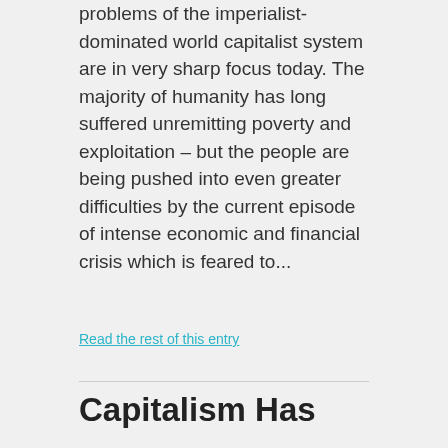problems of the imperialist-dominated world capitalist system are in very sharp focus today. The majority of humanity has long suffered unremitting poverty and exploitation – but the people are being pushed into even greater difficulties by the current episode of intense economic and financial crisis which is feared to...
Read the rest of this entry
Capitalism Has